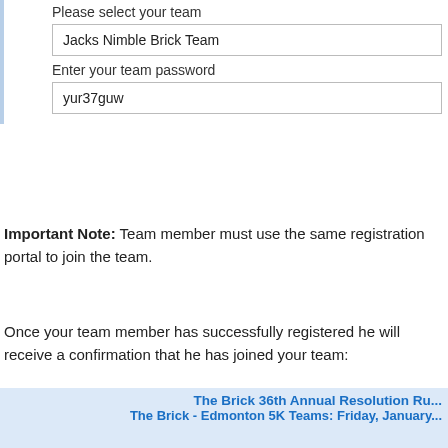Please select your team
Jacks Nimble Brick Team
Enter your team password
yur37guw
Important Note: Team member must use the same registration portal to join the team.
Once your team member has successfully registered he will receive a confirmation that he has joined your team:
[Figure (screenshot): Screenshot of event registration confirmation receipt page showing 'The Brick 36th Annual Resolution Ru...' title, 'The Brick - Edmonton 5K Teams: Friday, January...' subtitle, navigation tabs (Profile, Questions, Options, Confirm, Checkout, Receipt with Receipt active), and 'Event Registration Confirmation Receipt' heading.]